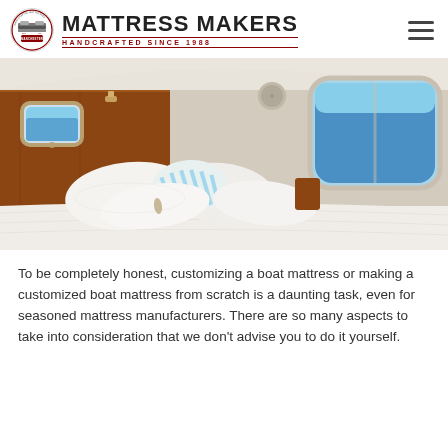MATTRESS MAKERS — HANDCRAFTED SINCE 1988
[Figure (photo): Interior of a boat cabin showing a white bed with multiple pillows including striped aqua and white pillows, wooden paneling headboard, a porthole window showing blue sky, and another curved window on the right showing the ocean. The cabin has beige walls and cream ceiling.]
To be completely honest, customizing a boat mattress or making a customized boat mattress from scratch is a daunting task, even for seasoned mattress manufacturers. There are so many aspects to take into consideration that we don't advise you to do it yourself.